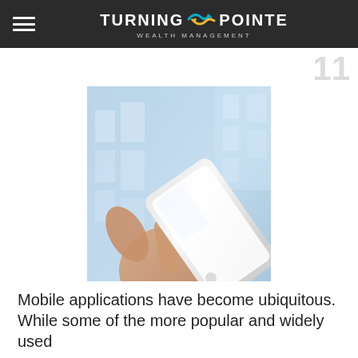Turning Pointe Wealth Management
[Figure (photo): Hand holding a white smartphone, touching the screen, with blurred blue glass building in background]
Mobile applications have become ubiquitous. While some of the more popular and widely used apps are for personal use, there are also many tools designed for investors.